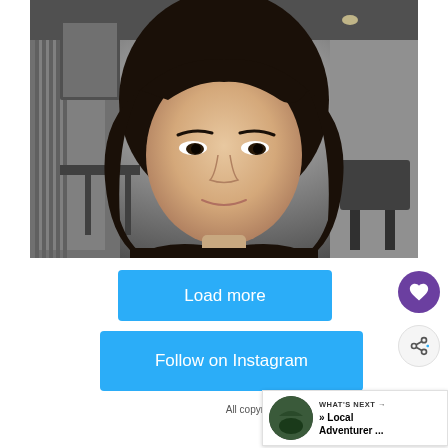[Figure (photo): Selfie of an Asian woman with bangs and long dark hair, wearing a black turtleneck, in what appears to be a modern office or studio setting with industrial decor. The photo is in a slightly desaturated style.]
Load more
Follow on Instagram
All copyrights to photos, graphics, and text are owned by Local Adve... used without permission.
WHAT'S NEXT → » Local Adventurer ...